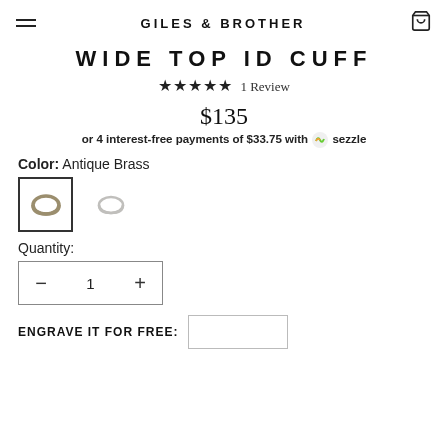GILES & BROTHER
WIDE TOP ID CUFF
★★★★★ 1 Review
$135
or 4 interest-free payments of $33.75 with Sezzle
Color: Antique Brass
[Figure (photo): Two small product swatches showing the cuff bracelet in Antique Brass (selected, with border) and a plain silver variant]
Quantity:
— 1 +
ENGRAVE IT FOR FREE: